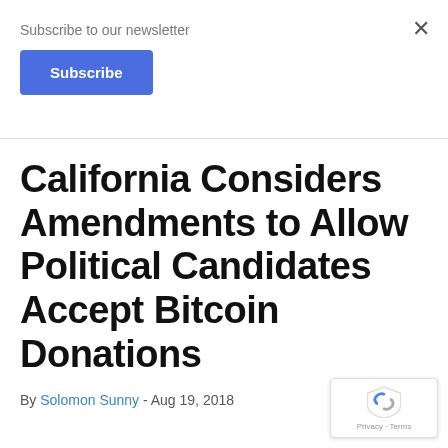Subscribe to our newsletter
Subscribe
California Considers Amendments to Allow Political Candidates Accept Bitcoin Donations
By Solomon Sunny - Aug 19, 2018
[Figure (logo): Google reCAPTCHA badge with shield logo and Privacy - Terms text]